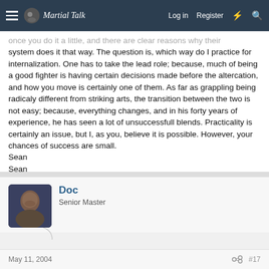Martial Talk — Log in | Register
once you do it a little, and there are clear reasons why their system does it that way. The question is, which way do I practice for internalization. One has to take the lead role; because, much of being a good fighter is having certain decisions made before the altercation, and how you move is certainly one of them. As far as grappling being radicaly different from striking arts, the transition between the two is not easy; because, everything changes, and in his forty years of experience, he has seen a lot of unsuccessfull blends. Practicality is certainly an issue, but I, as you, believe it is possible. However, your chances of success are small.
Sean
Sean
Doc
Senior Master
May 11, 2004  #17